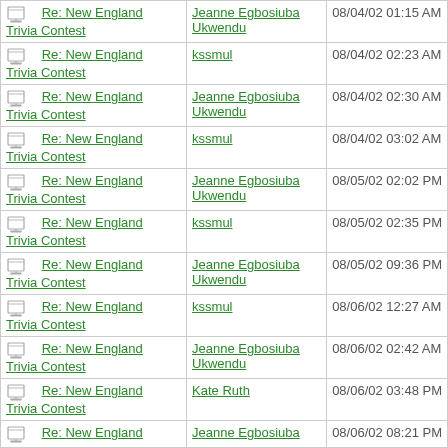| Subject | From | Date |
| --- | --- | --- |
| Re: New England Trivia Contest | Jeanne Egbosiuba Ukwendu | 08/04/02 01:15 AM |
| Re: New England Trivia Contest | kssmul | 08/04/02 02:23 AM |
| Re: New England Trivia Contest | Jeanne Egbosiuba Ukwendu | 08/04/02 02:30 AM |
| Re: New England Trivia Contest | kssmul | 08/04/02 03:02 AM |
| Re: New England Trivia Contest | Jeanne Egbosiuba Ukwendu | 08/05/02 02:02 PM |
| Re: New England Trivia Contest | kssmul | 08/05/02 02:35 PM |
| Re: New England Trivia Contest | Jeanne Egbosiuba Ukwendu | 08/05/02 09:36 PM |
| Re: New England Trivia Contest | kssmul | 08/06/02 12:27 AM |
| Re: New England Trivia Contest | Jeanne Egbosiuba Ukwendu | 08/06/02 02:42 AM |
| Re: New England Trivia Contest | Kate Ruth | 08/06/02 03:48 PM |
| Re: New England Trivia Contest | Jeanne Egbosiuba Ukwendu | 08/06/02 08:21 PM |